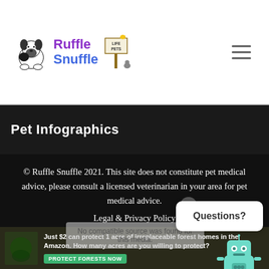[Figure (logo): Ruffle Snuffle pet brand logo with French bulldog and Life Pets sign illustration]
Pet Infographics
© Ruffle Snuffle 2021. This site does not constitute pet medical advice, please consult a licensed veterinarian in your area for pet medical advice.
Legal & Privacy Policy
No compatible source was found for this media.
Questions?
[Figure (illustration): Teal robot/dog illustration for chat widget]
Just $2 can protect 1 acre of irreplaceable forest homes in the Amazon. How many acres are you willing to protect?